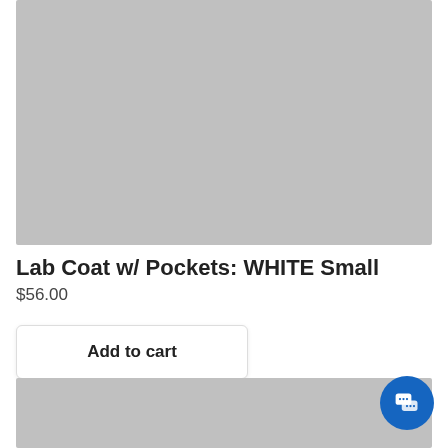[Figure (photo): Product image placeholder (gray rectangle) for lab coat]
Lab Coat w/ Pockets: WHITE Small
$56.00
Add to cart
[Figure (photo): Second product image placeholder (gray rectangle)]